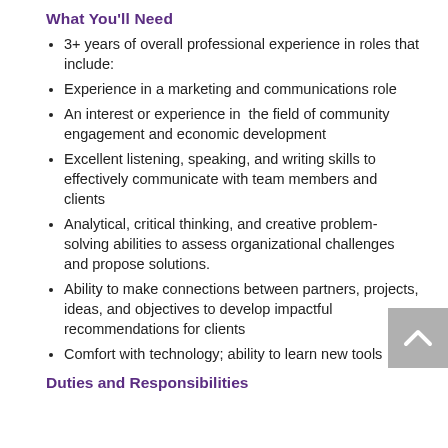What You'll Need
3+ years of overall professional experience in roles that include:
Experience in a marketing and communications role
An interest or experience in  the field of community engagement and economic development
Excellent listening, speaking, and writing skills to effectively communicate with team members and clients
Analytical, critical thinking, and creative problem-solving abilities to assess organizational challenges and propose solutions.
Ability to make connections between partners, projects, ideas, and objectives to develop impactful recommendations for clients
Comfort with technology; ability to learn new tools
Duties and Responsibilities